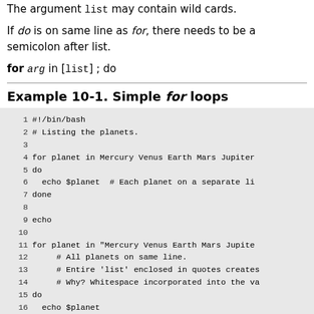The argument list may contain wild cards.
If do is on same line as for, there needs to be a semicolon after list.
Example 10-1. Simple for loops
[Figure (screenshot): Code block showing a bash script that lists planets using for loops, with line numbers 1-19.]